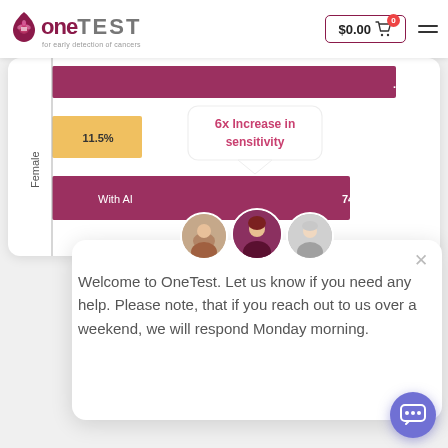[Figure (logo): OneTest logo — stylized teardrop/flower icon in dark red/maroon, text 'one' bold maroon + 'TEST' gray uppercase, tagline 'for early detection of cancers']
[Figure (bar-chart): Horizontal bar chart showing Female sensitivity: Without AI 11.5% (gold/yellow bar), With AI 74.8% (dark mauve/maroon bar). Tooltip: '6x Increase in sensitivity']
Welcome to OneTest. Let us know if you need any help. Please note, that if you reach out to us over a weekend, we will respond Monday morning.
[Figure (illustration): Chat widget with three female avatar photos and a purple chat bubble button in bottom right]